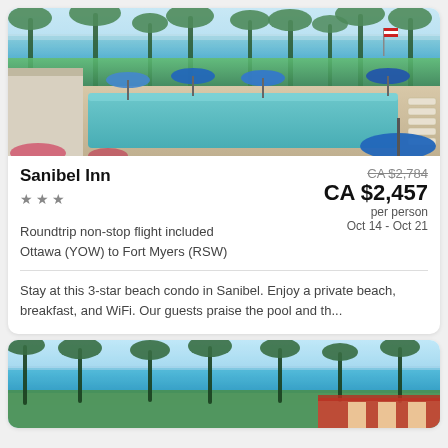[Figure (photo): Aerial/elevated view of Sanibel Inn resort pool area with blue umbrellas, lounge chairs, palm trees, green lawn, and ocean/beach in the background under a clear sky with an American flag visible.]
Sanibel Inn
★ ★ ★
CA $2,784 (strikethrough original price)
CA $2,457
per person
Oct 14 - Oct 21
Roundtrip non-stop flight included
Ottawa (YOW) to Fort Myers (RSW)
Stay at this 3-star beach condo in Sanibel. Enjoy a private beach, breakfast, and WiFi. Our guests praise the pool and th...
[Figure (photo): Beach resort scene with palm trees, turquoise ocean water, green lawn, and resort buildings partially visible at bottom right.]